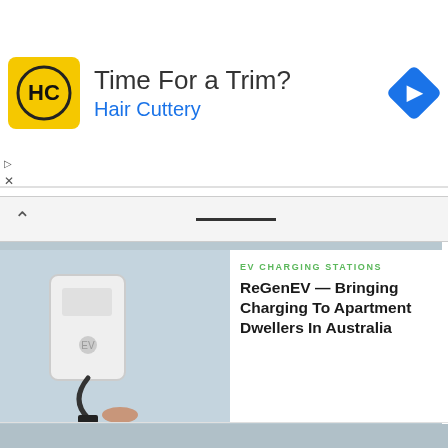[Figure (illustration): Advertisement banner: Hair Cuttery logo (yellow square with HC initials) on left, text 'Time For a Trim?' and 'Hair Cuttery' in blue, blue diamond navigation icon on right]
[Figure (photo): EV charging station wall-mounted unit with cable being plugged in]
EV CHARGING STATIONS
ReGenEV — Bringing Charging To Apartment Dwellers In Australia
[Figure (photo): Volvo electric truck at a port with large blue cranes in the background]
BATTERY SWAPPING
Volvo Trucks With VNR Electric With Enhanced Range & More, Electric Transit Buses
[Figure (photo): Collage of electric buses and transit vehicles]
BATTERIES
1,000-Cycle Lithium-Sulfur Battery, Aussie E-Motorcycle Pioneer Savic Allows Riders To Build Their Own